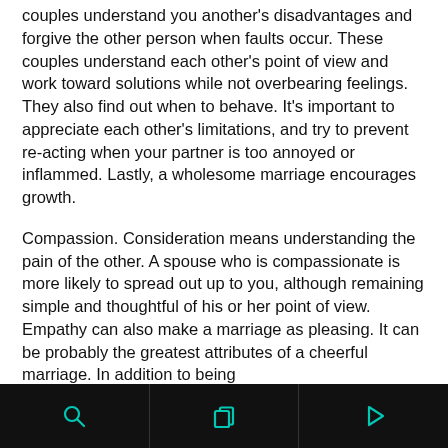couples understand you another's disadvantages and forgive the other person when faults occur. These couples understand each other's point of view and work toward solutions while not overbearing feelings. They also find out when to behave. It's important to appreciate each other's limitations, and try to prevent re-acting when your partner is too annoyed or inflammed. Lastly, a wholesome marriage encourages growth.
Compassion. Consideration means understanding the pain of the other. A spouse who is compassionate is more likely to spread out up to you, although remaining simple and thoughtful of his or her point of view. Empathy can also make a marriage as pleasing. It can be probably the greatest attributes of a cheerful marriage. In addition to being
[search icon] [copy icon] [play icon]